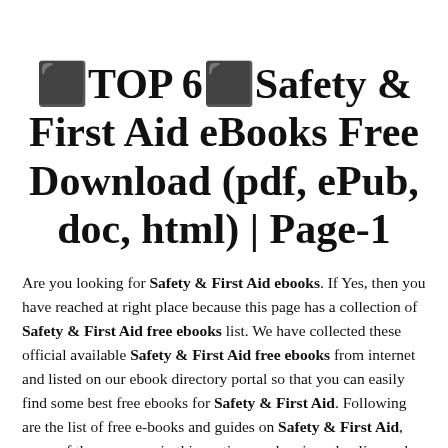⭐TOP 6⭐Safety & First Aid eBooks Free Download (pdf, ePub, doc, html) | Page-1
Are you looking for Safety & First Aid ebooks. If Yes, then you have reached at right place because this page has a collection of Safety & First Aid free ebooks list. We have collected these official available Safety & First Aid free ebooks from internet and listed on our ebook directory portal so that you can easily find some best free ebooks for Safety & First Aid. Following are the list of free e-books and guides on Safety & First Aid, some of the resources in this section can be viewed online and some of them can be downloaded.